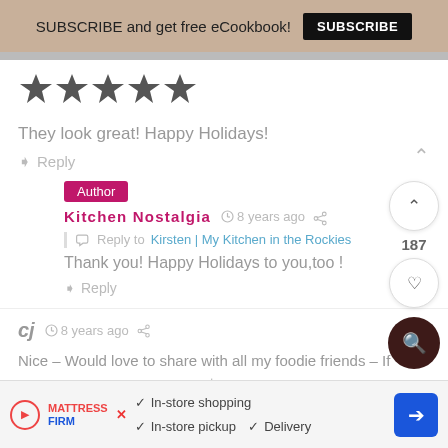SUBSCRIBE and get free eCookbook! SUBSCRIBE
[Figure (other): Five filled star rating icons]
They look great! Happy Holidays!
Reply
Author
Kitchen Nostalgia  8 years ago
Reply to Kirsten | My Kitchen in the Rockies
Thank you! Happy Holidays to you, too !
Reply
cj  8 years ago
Nice – Would love to share with all my foodie friends – If you're...  com a...
[Figure (infographic): Advertisement banner: Mattress Firm - In-store shopping, In-store pickup, Delivery with arrow button]